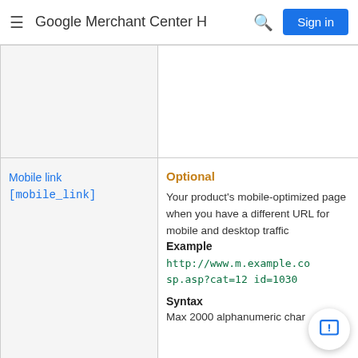Google Merchant Center Help
| Attribute | Details |
| --- | --- |
|  |  |
| Mobile link [mobile_link] | Optional

Your product's mobile-optimized page when you have a different URL for mobile and desktop traffic

Example
http://www.m.example.co...sp.asp?cat=12 id=1030

Syntax
Max 2000 alphanumeric characters |